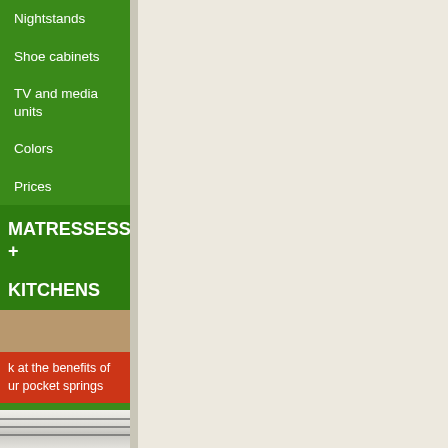Nightstands
Shoe cabinets
TV and media units
Colors
Prices
MATRESSESS +
KITCHENS
k at the benefits of ur pocket springs
[Figure (photo): Close-up photo of mattress pocket springs, white fabric with dark stitching lines visible]